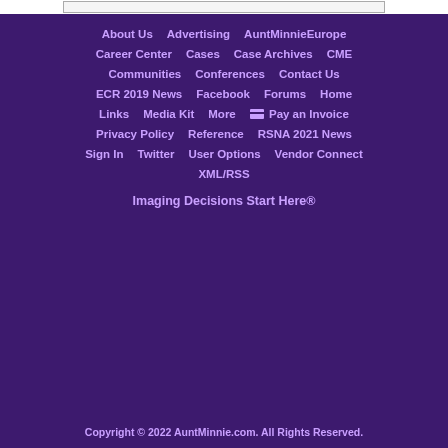About Us
Advertising
AuntMinnieEurope
Career Center
Cases
Case Archives
CME
Communities
Conferences
Contact Us
ECR 2019 News
Facebook
Forums
Home
Links
Media Kit
More
Pay an Invoice
Privacy Policy
Reference
RSNA 2021 News
Sign In
Twitter
User Options
Vendor Connect
XML/RSS
Imaging Decisions Start Here®
Copyright © 2022 AuntMinnie.com. All Rights Reserved.